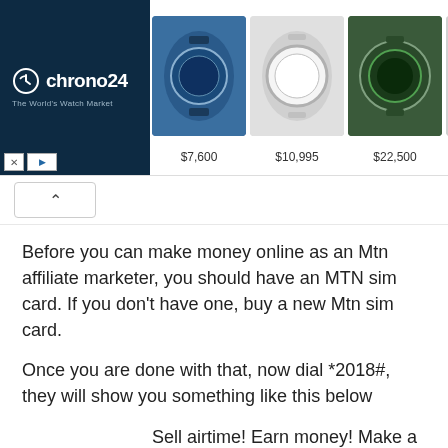[Figure (screenshot): Chrono24 watch advertisement banner showing logo on dark blue background on the left and four watch images with prices ($7,600, $10,995, $22,500, $8,715) on the right]
Before you can make money online as an Mtn affiliate marketer, you should have an MTN sim card. If you don't have one, buy a new Mtn sim card.
Once you are done with that, now dial *2018#,  they will show you something like this below
Sell airtime! Earn money! Make a commission! No fees! No costs! No charges!
Reply with the state you live in. For example, Ogun